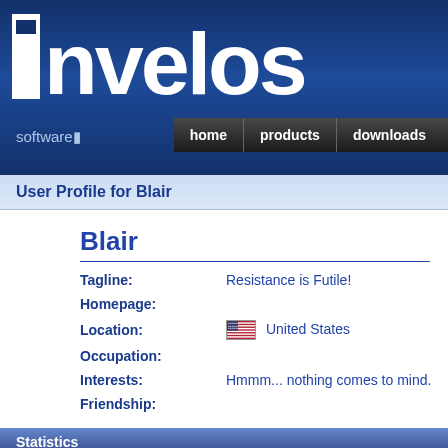invelos software — home | products | downloads
User Profile for Blair
Blair
| Field | Value |
| --- | --- |
| Tagline: | Resistance is Futile! |
| Homepage: |  |
| Location: | United States |
| Occupation: |  |
| Interests: | Hmmm... nothing comes to mind. |
| Friendship: |  |
Statistics
| Stat | Value |
| --- | --- |
| Member Since: | Thursday, October 30, |
| Last Forum Visit: | Sunday, May 19, 2019 |
| Forum Posts: | 1249   Forum posts b |
| Accepted Profile Contributions: | 312 |
| Accepted Image Contributions: | 13 |
| Contribution Votes Cast: | 157 |
| Profile Links Submitted: | 39 |